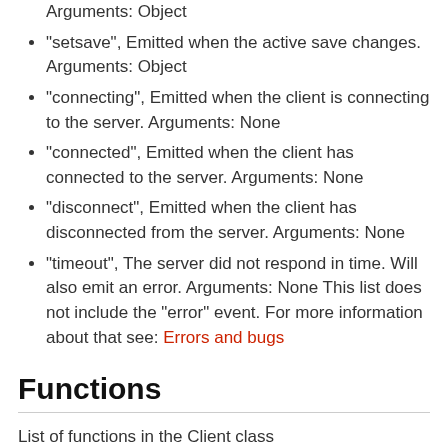Arguments: Object
"setsave", Emitted when the active save changes. Arguments: Object
"connecting", Emitted when the client is connecting to the server. Arguments: None
"connected", Emitted when the client has connected to the server. Arguments: None
"disconnect", Emitted when the client has disconnected from the server. Arguments: None
"timeout", The server did not respond in time. Will also emit an error. Arguments: None This list does not include the "error" event. For more information about that see: Errors and bugs
Functions
List of functions in the Client class